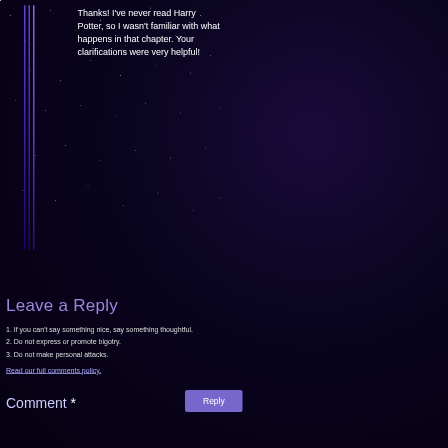Thanks! I've never read Harry Potter, so I wasn't familiar with what happens in that chapter. Your clarifications were very helpful!
Reply
Leave a Reply
1. If you can't say something nice, say something thoughtful.
2. Do not express or promote bigotry.
3. Do not make personal attacks.
Read our full comments policy.
Comment *